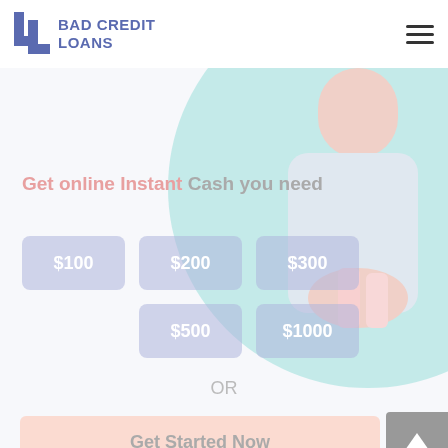BAD CREDIT LOANS
Get online Instant Cash you need
[Figure (screenshot): Website screenshot for Bad Credit Loans showing loan amount buttons ($100, $200, $300, $500, $1000), OR text, Get Started Now button, Apply Now green button, and partial section heading Common Uses For a Loan]
$100
$200
$300
$500
$1000
OR
Get Started Now
Apply Now
Applying does NOT affect your credit score!
No credit check to apply!
Common Uses For a Loan